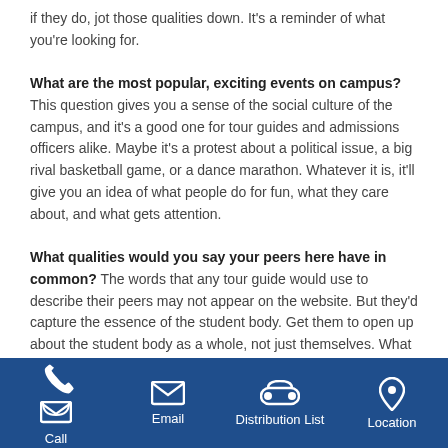they don't, perhaps it's a sign that this college isn't a good fit. And if they do, jot those qualities down. It's a reminder of what you're looking for.
What are the most popular, exciting events on campus? This question gives you a sense of the social culture of the campus, and it's a good one for tour guides and admissions officers alike. Maybe it's a protest about a political issue, a big rival basketball game, or a dance marathon. Whatever it is, it'll give you an idea of what people do for fun, what they care about, and what gets attention.
What qualities would you say your peers here have in common? The words that any tour guide would use to describe their peers may not appear on the website. But they'd capture the essence of the student body. Get them to open up about the student body as a whole, not just themselves. What do they notice as a common denominator?
Taken together, these answers paint a picture of the type of
Call  Email  Distribution List  Location